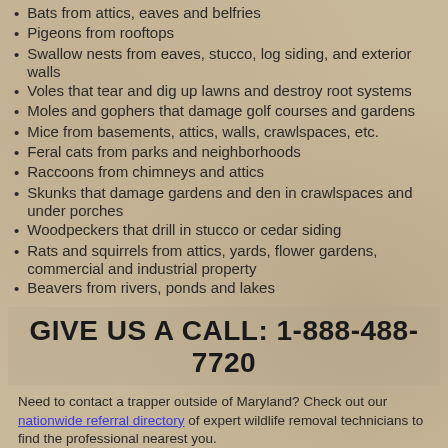Bats from attics, eaves and belfries
Pigeons from rooftops
Swallow nests from eaves, stucco, log siding, and exterior walls
Voles that tear and dig up lawns and destroy root systems
Moles and gophers that damage golf courses and gardens
Mice from basements, attics, walls, crawlspaces, etc.
Feral cats from parks and neighborhoods
Raccoons from chimneys and attics
Skunks that damage gardens and den in crawlspaces and under porches
Woodpeckers that drill in stucco or cedar siding
Rats and squirrels from attics, yards, flower gardens, commercial and industrial property
Beavers from rivers, ponds and lakes
GIVE US A CALL: 1-888-488-7720
Need to contact a trapper outside of Maryland? Check out our nationwide referral directory of expert wildlife removal technicians to find the professional nearest you.